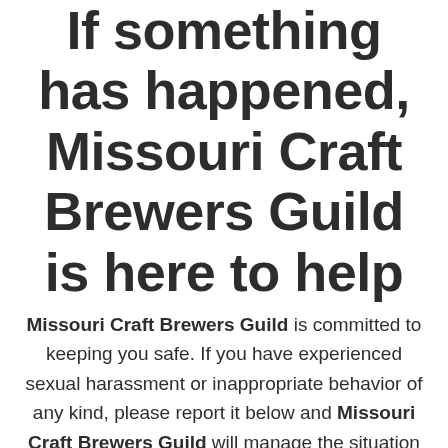If something has happened, Missouri Craft Brewers Guild is here to help
Missouri Craft Brewers Guild is committed to keeping you safe. If you have experienced sexual harassment or inappropriate behavior of any kind, please report it below and Missouri Craft Brewers Guild will manage the situation